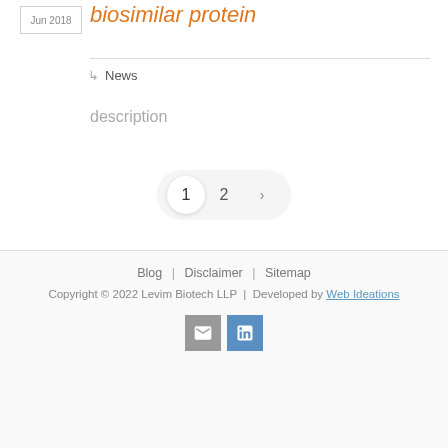biosimilar protein
News
description
1  2  ›
Blog | Disclaimer | Sitemap
Copyright © 2022 Levim Biotech LLP | Developed by Web Ideations